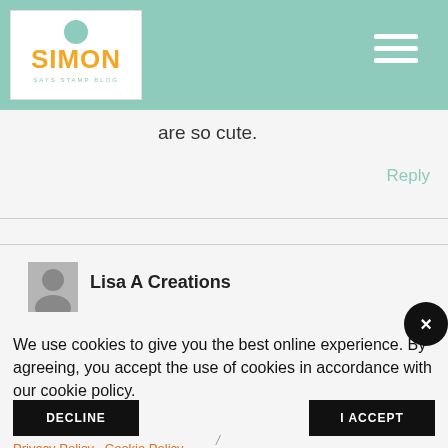Simon Says Stamp Blog
are so cute.
Reply
Lisa A Creations
We use cookies to give you the best online experience. By agreeing, you accept the use of cookies in accordance with our cookie policy.
DECLINE
I ACCEPT
Privacy Policy   Cookie Policy